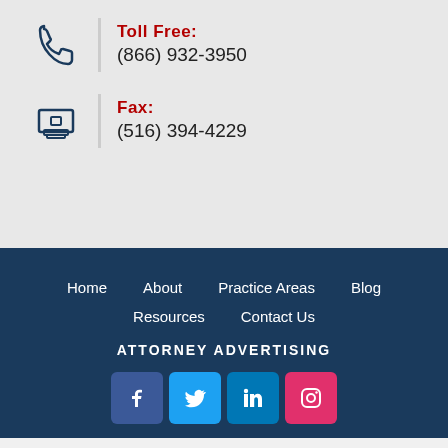Toll Free: (866) 932-3950
Fax: (516) 394-4229
Home  About  Practice Areas  Blog  Resources  Contact Us
ATTORNEY ADVERTISING
[Figure (infographic): Social media icons: Facebook, Twitter, LinkedIn, Instagram]